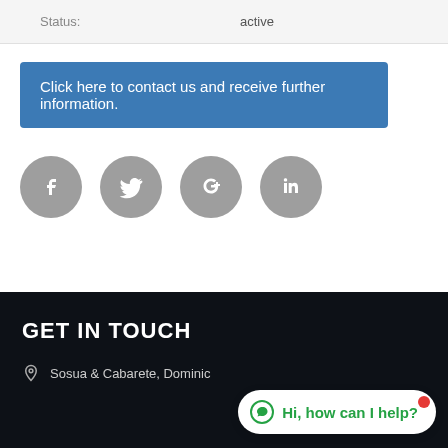| Status: | active |
| --- | --- |
Click here to contact us and receive further information.
[Figure (illustration): Four circular gray social media icons: Facebook, Twitter, Google+, LinkedIn]
GET IN TOUCH
Sosua & Cabarete, Dominic...
Hi, how can I help?